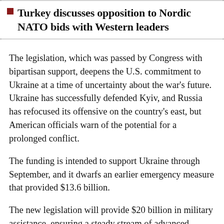Turkey discusses opposition to Nordic NATO bids with Western leaders
The legislation, which was passed by Congress with bipartisan support, deepens the U.S. commitment to Ukraine at a time of uncertainty about the war's future. Ukraine has successfully defended Kyiv, and Russia has refocused its offensive on the country's east, but American officials warn of the potential for a prolonged conflict.
The funding is intended to support Ukraine through September, and it dwarfs an earlier emergency measure that provided $13.6 billion.
The new legislation will provide $20 billion in military assistance, ensuring a steady stream of advanced weapons that have been used to blunt Russia's advances. There's also $8 billion in general economic support, $5 billion to address global food shortages that could result from the collapse of Ukrainian agriculture and more than